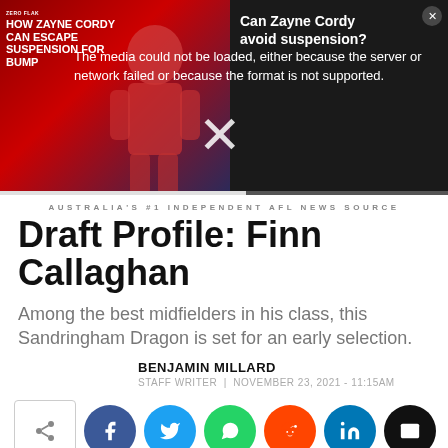[Figure (screenshot): Video player overlay showing an AFL media thumbnail on left with 'HOW ZAYNE CORDY CAN ESCAPE SUSPENSION FOR BUMP' text on red background, and a media error message reading 'The media could not be loaded, either because the server or network failed or because the format is not supported.' with a large X close button.]
AUSTRALIA'S #1 INDEPENDENT AFL NEWS SOURCE
Draft Profile: Finn Callaghan
Among the best midfielders in his class, this Sandringham Dragon is set for an early selection.
BENJAMIN MILLARD
STAFF WRITER | NOVEMBER 23, 2021 - 11:15AM
[Figure (infographic): Social sharing buttons row: share icon box, Facebook (blue), Twitter (cyan), WhatsApp (green), Reddit (orange-red), LinkedIn (blue), Email (black)]